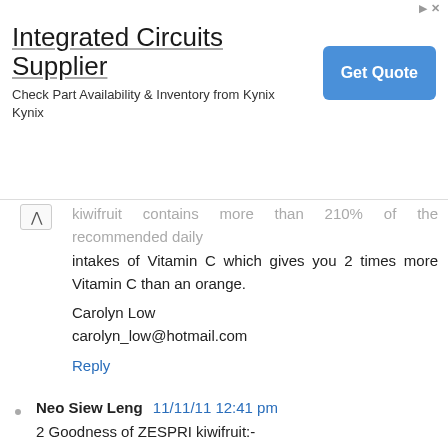[Figure (screenshot): Advertisement banner for Integrated Circuits Supplier (Kynix). Title: 'Integrated Circuits Supplier'. Subtitle: 'Check Part Availability & Inventory from Kynix Kynix'. Blue 'Get Quote' button on the right.]
...kiwifruit contains more than 210% of the recommended daily intakes of Vitamin C which gives you 2 times more Vitamin C than an orange.
Carolyn Low
carolyn_low@hotmail.com
Reply
Neo Siew Leng 11/11/11 12:41 pm
2 Goodness of ZESPRI kiwifruit:-
ZESPRI Kiwifruit contains more than 210% of the recommended daily intakes of Vitamin C which gives us 2 times more Vitamin C than an orange. Furthermore it is also a good source of folate which is essential for healthy development of the foetus in early pregnancy. Neo Siew Leng (plugnp@yahoo.com.sg)